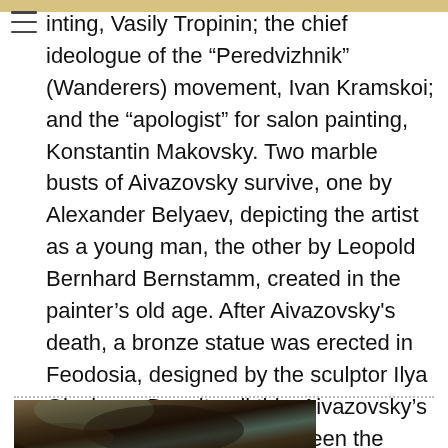inting, Vasily Tropinin; the chief ideologue of the “Peredvizhnik” (Wanderers) movement, Ivan Kramskoi; and the “apologist” for salon painting, Konstantin Makovsky. Two marble busts of Aivazovsky survive, one by Alexander Belyaev, depicting the artist as a young man, the other by Leopold Bernhard Bernstamm, created in the painter’s old age. After Aivazovsky's death, a bronze statue was erected in Feodosia, designed by the sculptor Ilya Ginzburg. Despite all this, Aivazovsky’s depiction in art has never been the subject of significant study. How did the great artist perceive himself, and how did he wish to be seen by future generations? How, indeed, was he viewed by his contemporaries?
[Figure (photo): Partial view of a painting or photograph showing what appears to be an elderly person, darkly painted with hints of blue-grey and brown tones.]